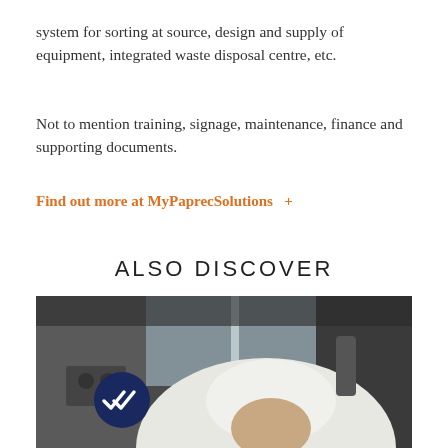system for sorting at source, design and supply of equipment, integrated waste disposal centre, etc.
Not to mention training, signage, maintenance, finance and supporting documents.
Find out more at MyPaprecSolutions  +
ALSO DISCOVER
[Figure (photo): A worker wearing a white hard hat and safety gear is photographed from behind/side inside an industrial vehicle cab. A dark navy circle badge with a white double-checkmark icon is visible in the lower left corner of the image.]